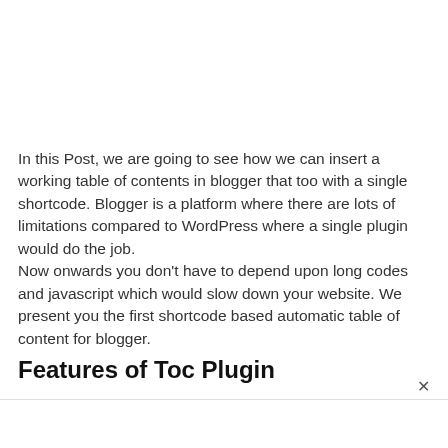In this Post, we are going to see how we can insert a working table of contents in blogger that too with a single shortcode. Blogger is a platform where there are lots of limitations compared to WordPress where a single plugin would do the job.
Now onwards you don't have to depend upon long codes and javascript which would slow down your website. We present you the first shortcode based automatic table of content for blogger.
Features of Toc Plugin